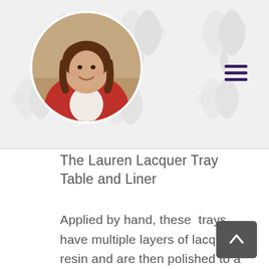[Figure (photo): Circular profile photo of a smiling woman with brown hair wearing a pink/red cardigan, positioned in the upper left of the header area with a decorative damask pattern background]
The Lauren Lacquer Tray Table and Liner
Applied by hand, these trays have multiple layers of lacquer resin and are then polished to a high gloss to bring out the rich color. Perfect for a chair or bed side, on the patio for drinks and hors d'oeuvres, or tucked into a powder room. The